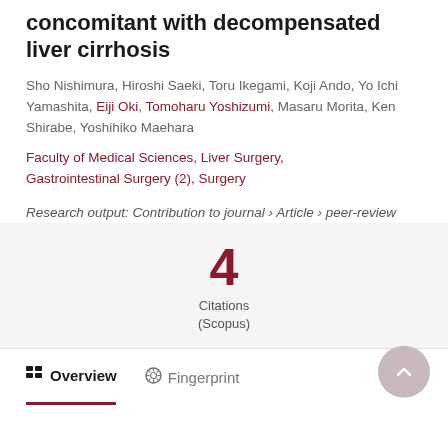concomitant with decompensated liver cirrhosis
Sho Nishimura, Hiroshi Saeki, Toru Ikegami, Koji Ando, Yo Ichi Yamashita, Eiji Oki, Tomoharu Yoshizumi, Masaru Morita, Ken Shirabe, Yoshihiko Maehara
Faculty of Medical Sciences, Liver Surgery, Gastrointestinal Surgery (2), Surgery
Research output: Contribution to journal › Article › peer-review
4
Citations
(Scopus)
Overview   Fingerprint